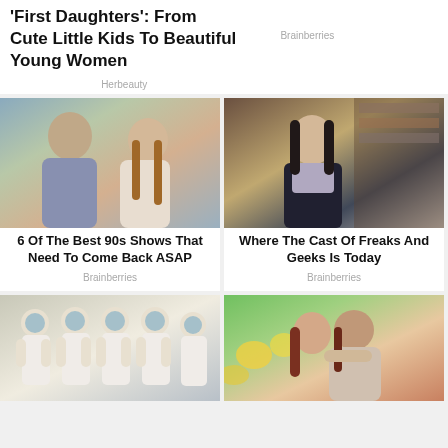'First Daughters': From Cute Little Kids To Beautiful Young Women
Herbeauty
[Figure (photo): Man and woman from the TV show Friends]
6 Of The Best 90s Shows That Need To Come Back ASAP
Brainberries
[Figure (photo): Young woman in a school scene from Freaks and Geeks]
Where The Cast Of Freaks And Geeks Is Today
Brainberries
Brainberries
[Figure (photo): People in hazmat suits walking in a group]
[Figure (photo): A woman embracing a man from behind, romantic scene]